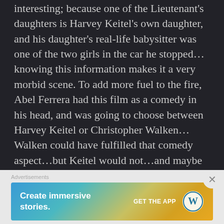interesting; because one of the Lieutenant's daughters is Harvey Keitel's own daughter, and his daughter's real-life babysitter was one of the two girls in the car he stopped...knowing this information makes it a very morbid scene. To add more fuel to the fire, Abel Ferrera had this film as a comedy in his head, and was going to choose between Harvey Keitel or Christopher Walken...Walken could have fulfilled that comedy aspect...but Keitel would not...and maybe that was for the best.
Advertisements
[Figure (other): WordPress advertisement banner with gradient background (blue to gold). Text reads 'Create immersive stories.' with 'GET THE APP' and WordPress logo on the right.]